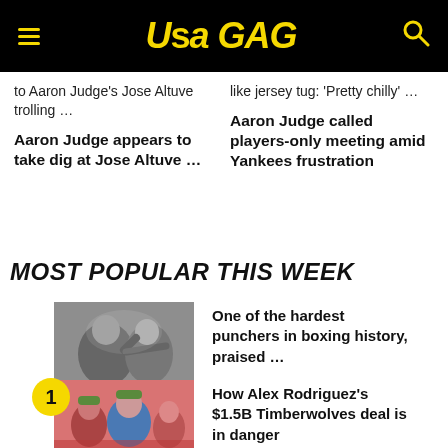USA GAG
to Aaron Judge's Jose Altuve trolling …
like jersey tug: 'Pretty chilly' …
Aaron Judge appears to take dig at Jose Altuve …
Aaron Judge called players-only meeting amid Yankees frustration
MOST POPULAR THIS WEEK
[Figure (photo): Black and white photo of two boxers fighting in a ring]
One of the hardest punchers in boxing history, praised …
[Figure (photo): Photo of Alex Rodriguez in crowd at sports event, wearing blue shirt]
How Alex Rodriguez's $1.5B Timberwolves deal is in danger